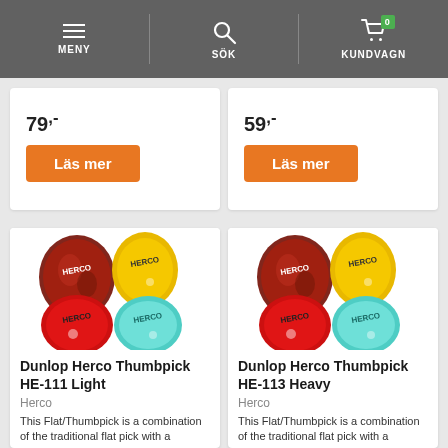MENY | SÖK | KUNDVAGN (0)
79,-
59,-
Läs mer
Läs mer
[Figure (photo): Four Herco thumbpicks in red tortoiseshell, yellow, red, and light blue colors with HERCO branding]
Dunlop Herco Thumbpick HE-111 Light
Herco
This Flat/Thumbpick is a combination of the traditional flat pick with a
[Figure (photo): Four Herco thumbpicks in red tortoiseshell, yellow, red, and light blue colors with HERCO branding]
Dunlop Herco Thumbpick HE-113 Heavy
Herco
This Flat/Thumbpick is a combination of the traditional flat pick with a